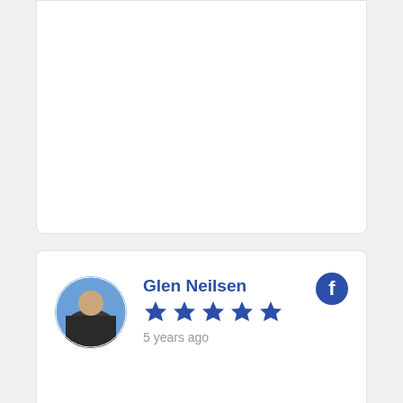[Figure (screenshot): Partial review card at top, mostly blank white card with rounded borders]
Glen Neilsen
5 stars
5 years ago
Paige Hogan
5 stars
5 years ago